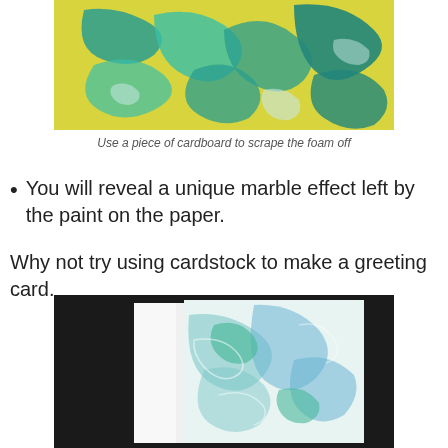[Figure (photo): Close-up photo of yellow surface with green and teal paint/foam patterns scraped across it, showing marbling effect]
Use a piece of cardboard to scrape the foam off
You will reveal a unique marble effect left by the paint on the paper.
Why not try using cardstock to make a greeting card.
[Figure (photo): Photo of a white folded greeting card with blue and green marble paint swirl pattern on black background]